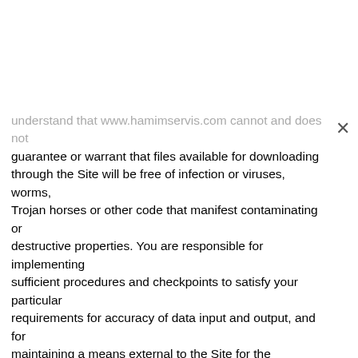understand that www.hamimservis.com cannot and does not guarantee or warrant that files available for downloading through the Site will be free of infection or viruses, worms, Trojan horses or other code that manifest contaminating or destructive properties. You are responsible for implementing sufficient procedures and checkpoints to satisfy your particular requirements for accuracy of data input and output, and for maintaining a means external to the Site for the reconstruction of any lost data. YOU ASSUME TOTAL RESPONSIBILITY AND RISK FOR YOUR USE OF THE SITE AND THE INTERNET. www.hamimservis.com PROVIDES THE SITE AND RELATED INFORMATION “AS IS” AND DOES NOT MAKE ANY EXPRESS OR IMPLIED WARRANTIES, REPRESENTATIONS OR ENDORSEMENTS WHATSOEVER (INCLUDING WITHOUT LIMITATION WARRANTIES OF TITLE OR NONINFRINGEMENT, OR THE IMPLIED WARRANTIES OF MERCHANTABILITY OR FITNESS